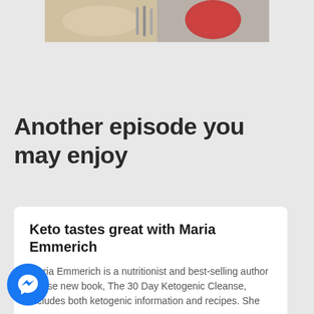[Figure (photo): Partial food photo showing dishes with what appears to be fish/chicken and a bowl of red sauce/soup, cropped at top of page]
Another episode you may enjoy
Keto tastes great with Maria Emmerich
Maria Emmerich is a nutritionist and best-selling author whose new book, The 30 Day Ketogenic Cleanse, includes both ketogenic information and recipes. She
[Figure (logo): Facebook Messenger logo button — blue circle with white lightning bolt chat bubble icon]